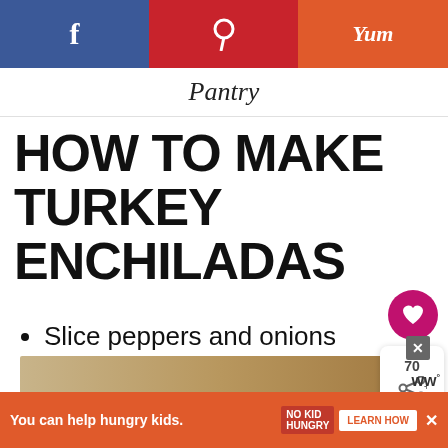f  Pinterest  Yum
Pantry
HOW TO MAKE TURKEY ENCHILADAS
Slice peppers and onions and toss with oil and spice blend.  Roast until softened and slightly around the edges.
[Figure (other): Heart/save button with count 70 and share icon panel]
[Figure (other): What's Next banner: Broccoli and Cauliflower...]
[Figure (photo): Partial food image strip at bottom]
You can help hungry kids. NO KID HUNGRY LEARN HOW